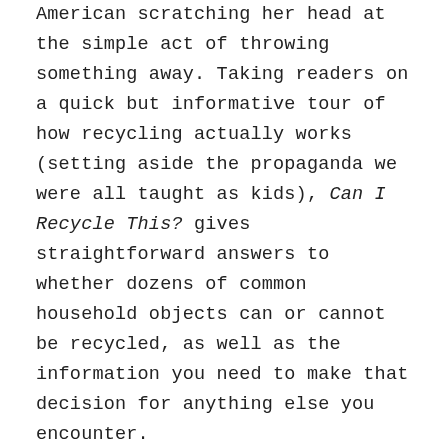American scratching her head at the simple act of throwing something away. Taking readers on a quick but informative tour of how recycling actually works (setting aside the propaganda we were all taught as kids), Can I Recycle This? gives straightforward answers to whether dozens of common household objects can or cannot be recycled, as well as the information you need to make that decision for anything else you encounter.
Jennie Romer has been working for years to help cities and states across America better deal with the waste we produce, helping draft meaningful legislation to help communities better process their waste and produce less of it in the first place. She has distilled her years of experience into this non-judgmental, easy-to-use guide that will change the way you think about what you throw away and how